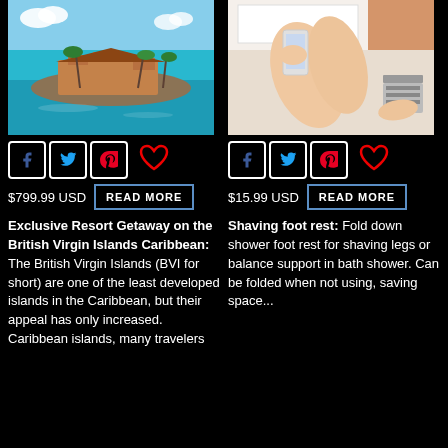[Figure (photo): Aerial photo of a tropical island resort with turquoise Caribbean water, palm trees, and resort buildings]
[Figure (photo): Person's legs resting on a fold-down shower foot rest mounted on white bathroom wall]
Facebook Twitter Pinterest share icons and heart favorite icon
Facebook Twitter Pinterest share icons and heart favorite icon
$799.99 USD  READ MORE
$15.99 USD  READ MORE
Exclusive Resort Getaway on the British Virgin Islands Caribbean: The British Virgin Islands (BVI for short) are one of the least developed islands in the Caribbean, but their appeal has only increased. Caribbean islands, many travelers
Shaving foot rest: Fold down shower foot rest for shaving legs or balance support in bath shower. Can be folded when not using, saving space...